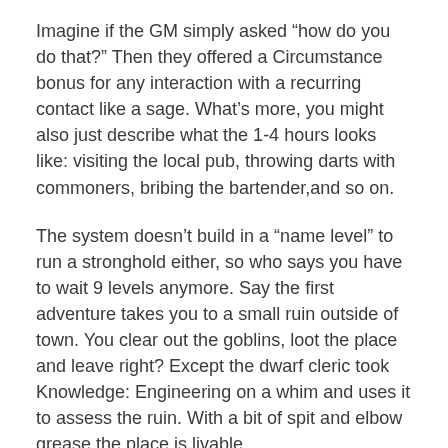Imagine if the GM simply asked “how do you do that?” Then they offered a Circumstance bonus for any interaction with a recurring contact like a sage. What’s more, you might also just describe what the 1-4 hours looks like: visiting the local pub, throwing darts with commoners, bribing the bartender,and so on.
The system doesn’t build in a “name level” to run a stronghold either, so who says you have to wait 9 levels anymore. Say the first adventure takes you to a small ruin outside of town. You clear out the goblins, loot the place and leave right? Except the dwarf cleric took Knowledge: Engineering on a whim and uses it to assess the ruin. With a bit of spit and elbow grease the place is livable.